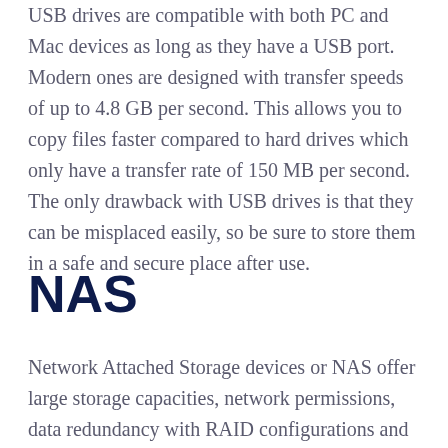USB drives are compatible with both PC and Mac devices as long as they have a USB port. Modern ones are designed with transfer speeds of up to 4.8 GB per second. This allows you to copy files faster compared to hard drives which only have a transfer rate of 150 MB per second. The only drawback with USB drives is that they can be misplaced easily, so be sure to store them in a safe and secure place after use.
NAS
Network Attached Storage devices or NAS offer large storage capacities, network permissions, data redundancy with RAID configurations and relatively fast access. Considering what you can all do with a NAS, they are a reasonably priced backup solution. It is recommended to review NAS specs before buying.